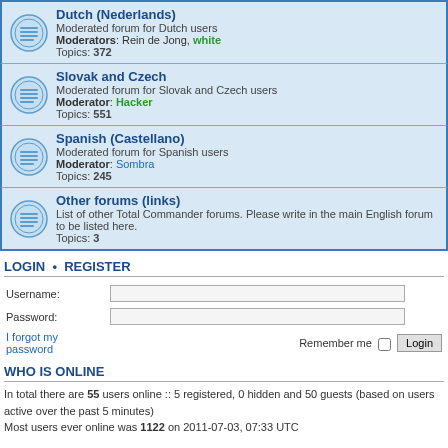Dutch (Nederlands) - Moderated forum for Dutch users. Moderators: Rein de Jong, white. Topics: 372
Slovak and Czech - Moderated forum for Slovak and Czech users. Moderator: Hacker. Topics: 551
Spanish (Castellano) - Moderated forum for Spanish users. Moderator: Sombra. Topics: 245
Other forums (links) - List of other Total Commander forums. Please write in the main English forum to be listed here. Topics: 3
LOGIN • REGISTER
Username:
Password:
I forgot my password
Remember me  Login
WHO IS ONLINE
In total there are 55 users online :: 5 registered, 0 hidden and 50 guests (based on users active over the past 5 minutes)
Most users ever online was 1122 on 2011-07-03, 07:33 UTC